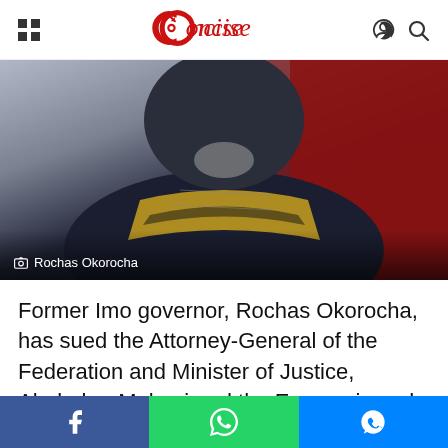Concise
[Figure (photo): Photo of Rochas Okorocha, a man with a grey beard wearing a dark jacket with a patterned scarf/sash with gold and black design, against a red background.]
Rochas Okorocha
Former Imo governor, Rochas Okorocha, has sued the Attorney-General of the Federation and Minister of Justice, Abubakar Malami and the Economic and Financial Crimes Commission over an alleged breach of his fundamental human rights.